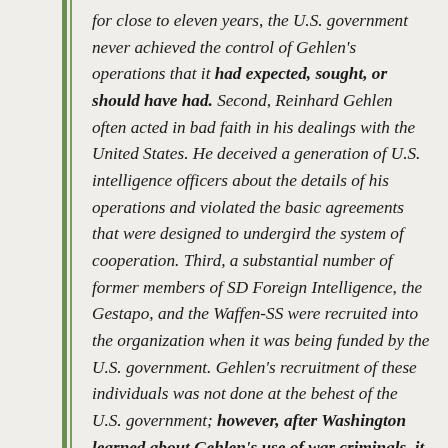for close to eleven years, the U.S. government never achieved the control of Gehlen's operations that it had expected, sought, or should have had. Second, Reinhard Gehlen often acted in bad faith in his dealings with the United States. He deceived a generation of U.S. intelligence officers about the details of his operations and violated the basic agreements that were designed to undergird the system of cooperation. Third, a substantial number of former members of SD Foreign Intelligence, the Gestapo, and the Waffen-SS were recruited into the organization when it was being funded by the U.S. government. Gehlen's recruitment of these individuals was not done at the behest of the U.S. government; however, after Washington learned about Gehlen's use of war criminals, it opted to do nothing about it.